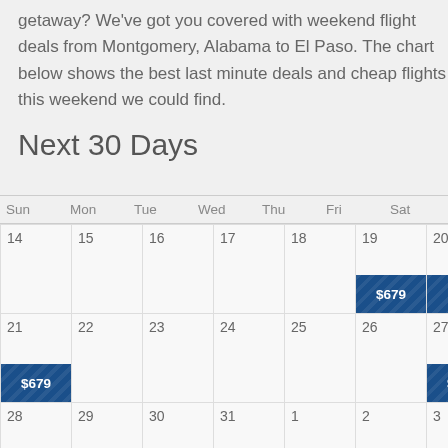getaway? We've got you covered with weekend flight deals from Montgomery, Alabama to El Paso. The chart below shows the best last minute deals and cheap flights this weekend we could find.
Next 30 Days
| Sun | Mon | Tue | Wed | Thu | Fri | Sat |
| --- | --- | --- | --- | --- | --- | --- |
| 14 | 15 | 16 | 17 | 18 | 19 / $679 | 20 / $679 |
| 21 / $679 | 22 | 23 | 24 | 25 | 26 | 27 / $465 |
| 28 / $469 | 29 | 30 / $469 | 31 | 1 | 2 / $469 | 3 / $469 |